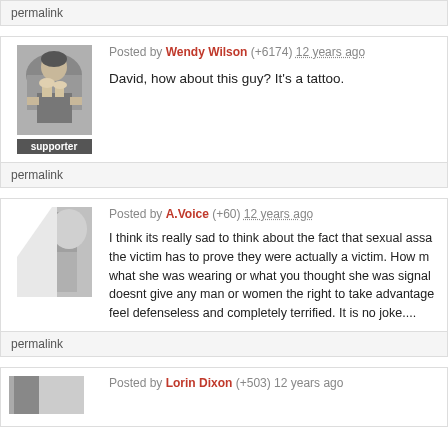permalink
Posted by Wendy Wilson (+6174) 12 years ago
David, how about this guy? It's a tattoo.
supporter
permalink
Posted by A.Voice (+60) 12 years ago
I think its really sad to think about the fact that sexual assa... the victim has to prove they were actually a victim. How m... what she was wearing or what you thought she was signal... doesnt give any man or women the right to take advantage... feel defenseless and completely terrified. It is no joke....
permalink
Posted by Lorin Dixon (+503) 12 years ago